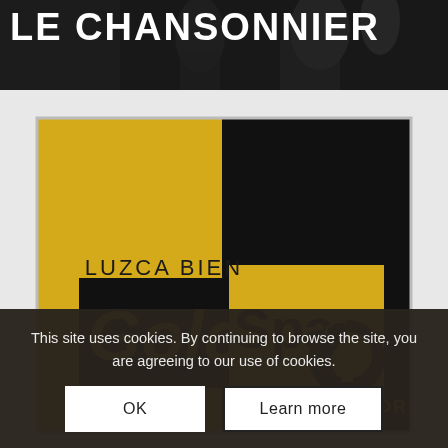LE CHANSONNIER
[Figure (logo): Gold Spa logo — split black and gold/yellow square design with 'LUZCA BIEN' text above, 'Gold Spa' stylized text with a silhouette head icon, and 'SIÉNTASE MEJOR' tagline below, enclosed in a rectangular border]
This site uses cookies. By continuing to browse the site, you are agreeing to our use of cookies.
OK
Learn more